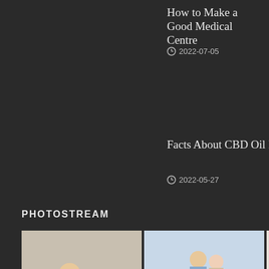How to Make a Good Medical Centre
2022-07-05
Facts About CBD Oil For Do...
2022-05-27
PHOTOSTREAM
[Figure (photo): Grid of 6 lifestyle photos: couple with dog on beach, couple embracing at beach, woman on phone, indoor/home scenes, woman portrait]
YOU MAY INTERESTE...
[Figure (photo): Person holding stomach, therapy related image]
THERA... Is Th... Righ...
[Figure (photo): Bowl of food, juice and supplement bottle on table]
WEIGH... Four... Wei...
[Figure (photo): Person jogging near water, exercise related]
EXERC... 4 Se... Goo...